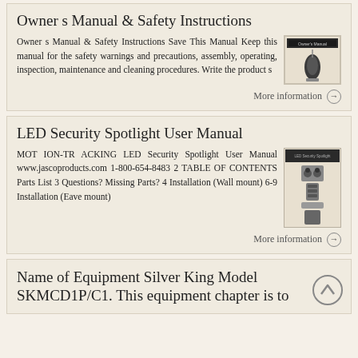Owner s Manual & Safety Instructions
Owner s Manual & Safety Instructions Save This Manual Keep this manual for the safety warnings and precautions, assembly, operating, inspection, maintenance and cleaning procedures. Write the product s
[Figure (screenshot): Thumbnail image of Owner's Manual cover showing a product on a surface]
More information →
LED Security Spotlight User Manual
MOT ION-TR ACKING LED Security Spotlight User Manual www.jascoproducts.com 1-800-654-8483 2 TABLE OF CONTENTS Parts List 3 Questions? Missing Parts? 4 Installation (Wall mount) 6-9 Installation (Eave mount)
[Figure (photo): Thumbnail image of LED Security Spotlight User Manual cover showing a security spotlight device]
More information →
Name of Equipment Silver King Model SKMCD1P/C1. This equipment chapter is to